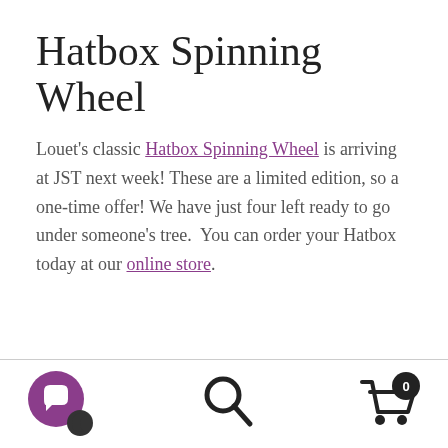Hatbox Spinning Wheel
Louet's classic Hatbox Spinning Wheel is arriving at JST next week! These are a limited edition, so a one-time offer! We have just four left ready to go under someone's tree. You can order your Hatbox today at our online store.
[chat icon] [search icon] [cart icon with 0]